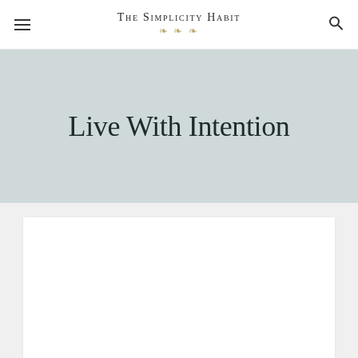The Simplicity Habit
Live With Intention
[Figure (other): White article card placeholder at the bottom of the page]